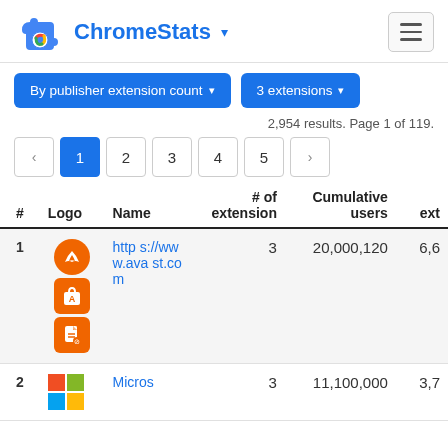ChromeStats
By publisher extension count  |  3 extensions
2,954 results. Page 1 of 119.
Pagination: < 1 2 3 4 5 >
| # | Logo | Name | # of extension | Cumulative users | ext |
| --- | --- | --- | --- | --- | --- |
| 1 | [avast logos] | https://www.avast.com | 3 | 20,000,120 | 6,6... |
| 2 | [Microsoft logo] | Micros... | 3 | 11,100,000 | 3,7... |